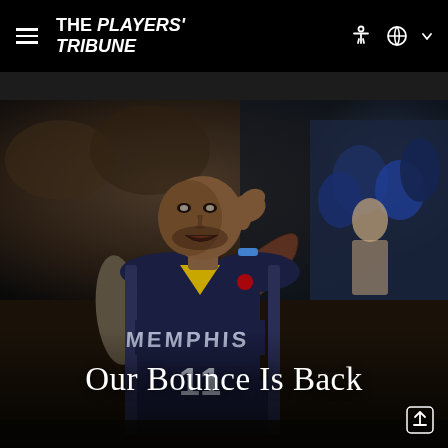THE PLAYERS' TRIBUNE
[Figure (photo): NBA Memphis Grizzlies player wearing jersey number 11, holding hand to ear in a taunting gesture on a basketball court, blurred audience in background]
Our Bounce Is Back